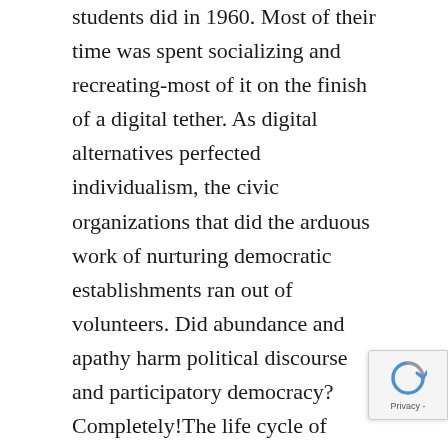students did in 1960. Most of their time was spent socializing and recreating-most of it on the finish of a digital tether. As digital alternatives perfected individualism, the civic organizations that did the arduous work of nurturing democratic establishments ran out of volunteers. Did abundance and apathy harm political discourse and participatory democracy? Completely!The life cycle of American society started edging again round to the “bondage stage” when it tried to help a navy presence in 130 counties and combat two long-term distant wars in opposition to evasive insurgents. People weren’t saving sufficient to help both inside funding or navy adventures. In some years, financial savings charges have been really adve… Thus, the bondage that emerged within the early